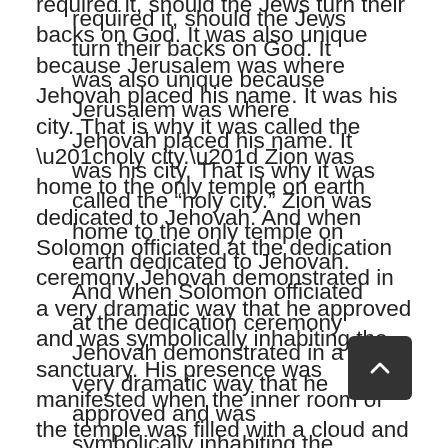required it, should the Jews turn their backs on God. It was also unique because Jerusalem was where Jehovah placed his name. It was his city. That is why it was called the “holy city.” Zion was home to the only temple on earth dedicated to Jehovah. And when Solomon officiated at the dedication ceremony Jehovah demonstrated in a very dramatic way that he approved and was symbolically inhabiting the sanctuary. His presence was manifested when the inner room of the temple was filled with a cloud and glory so that the priests could not enter.
The prophecy of Isaiah refers to “his strange deed” and “unusual work” with regards to the siege of Ariel, “the city where David encamped” —that being the former Jebusite stronghold called Jerusalem. Jehovah’s work